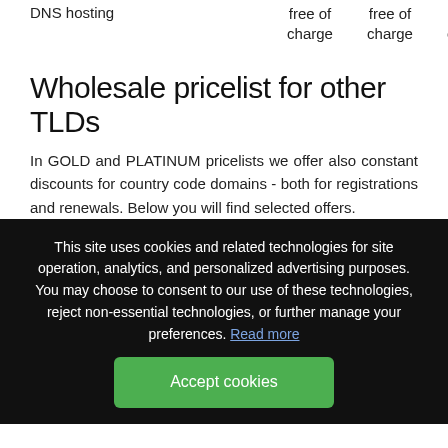|  |  |  |  |
| --- | --- | --- | --- |
| DNS hosting | free of charge | free of charge | free of charge |
Wholesale pricelist for other TLDs
In GOLD and PLATINUM pricelists we offer also constant discounts for country code domains - both for registrations and renewals. Below you will find selected offers.
This site uses cookies and related technologies for site operation, analytics, and personalized advertising purposes. You may choose to consent to our use of these technologies, reject non-essential technologies, or further manage your preferences. Read more
Accept cookies